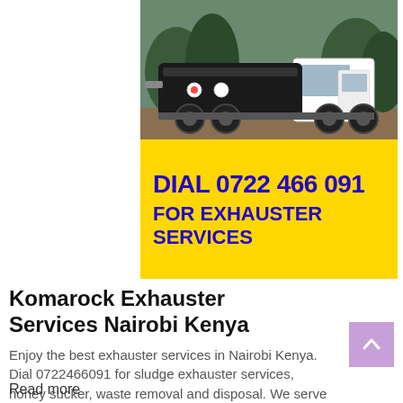[Figure (photo): A large industrial exhauster/vacuum tanker truck photographed outdoors on a dirt road surrounded by vegetation. The white truck with black tank is shown from the side/rear angle.]
DIAL 0722 466 091 FOR EXHAUSTER SERVICES
Komarock Exhauster Services Nairobi Kenya
Enjoy the best exhauster services in Nairobi Kenya. Dial 0722466091 for sludge exhauster services, honey sucker, waste removal and disposal. We serve Nairobi, Nakuru, Eldoret, Mombasa, Kisumu and surrounding areas in Kenya
Read more